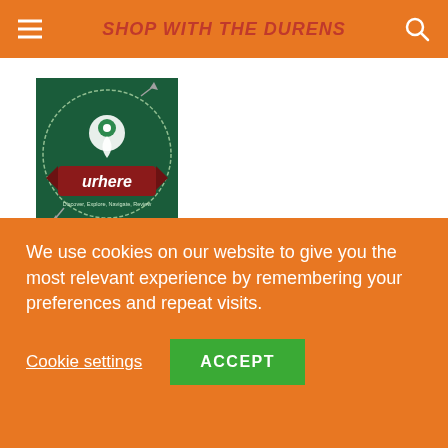SHOP WITH THE DURENS
[Figure (illustration): urhere podcast logo: dark green circular badge with a map pin graphic, banner ribbon reading 'urhere', and text 'Discover, Explore, Navigate, Review']
About Podcast Hello, map fans! We're two leading cartographers who chat about maps: historic, contemporary, and everything in between! Join us to
We use cookies on our website to give you the most relevant experience by remembering your preferences and repeat visits.
Cookie settings   ACCEPT